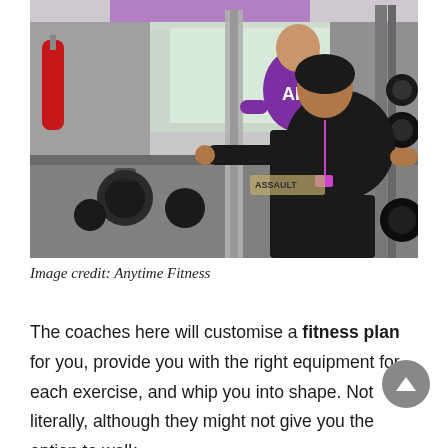[Figure (photo): A fitness trainer in a purple Anytime Fitness shirt assists a woman in a black shirt performing a cable machine exercise in a gym. Gym equipment including kettlebells and medicine balls are visible in the background.]
Image credit: Anytime Fitness
The coaches here will customise a fitness plan for you, provide you with the right equipment for each exercise, and whip you into shape. Not literally, although they might not give you the option to walk